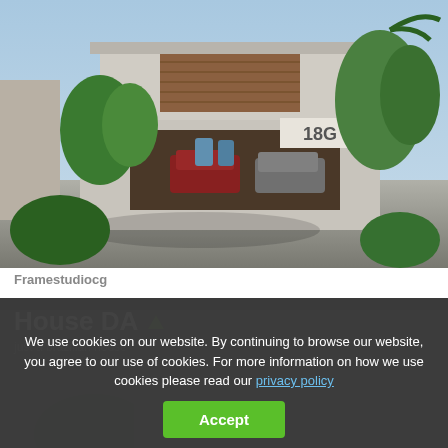[Figure (photo): Architectural rendering of a modern two-story house labeled 18G with wood paneling, concrete facade, tropical landscaping, and three cars in the garage area.]
Framestudiocg
House DA
just a brazilian house
[Figure (photo): Partial preview of another architectural photo at bottom of page, dark/shadowed.]
We use cookies on our website. By continuing to browse our website, you agree to our use of cookies. For more information on how we use cookies please read our privacy policy
Accept